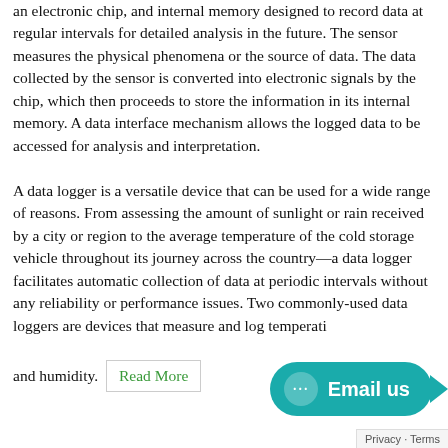an electronic chip, and internal memory designed to record data at regular intervals for detailed analysis in the future. The sensor measures the physical phenomena or the source of data. The data collected by the sensor is converted into electronic signals by the chip, which then proceeds to store the information in its internal memory. A data interface mechanism allows the logged data to be accessed for analysis and interpretation.
A data logger is a versatile device that can be used for a wide range of reasons. From assessing the amount of sunlight or rain received by a city or region to the average temperature of the cold storage vehicle throughout its journey across the country—a data logger facilitates automatic collection of data at periodic intervals without any reliability or performance issues. Two commonly-used data loggers are devices that measure and log temperature and humidity. Read More
[Figure (other): Email us chat widget — teal rounded pill button with speech bubble dots icon and 'Email us' text, with a teal arrow pointing right]
Privacy · Terms